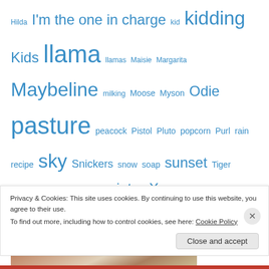Hilda I'm the one in charge kid kidding Kids llama llamas Maisie Margarita Maybeline milking Moose Myson Odie pasture peacock Pistol Pluto popcorn Purl rain recipe sky Snickers snow soap sunset Tiger Wanda weather wether winter Xerxes Zinnia
Tail Count 2022
[Figure (photo): Photo of goats from behind, showing their backsides and tails, brownish-red and white coloring, taken in a farm setting]
Privacy & Cookies: This site uses cookies. By continuing to use this website, you agree to their use.
To find out more, including how to control cookies, see here: Cookie Policy
Close and accept